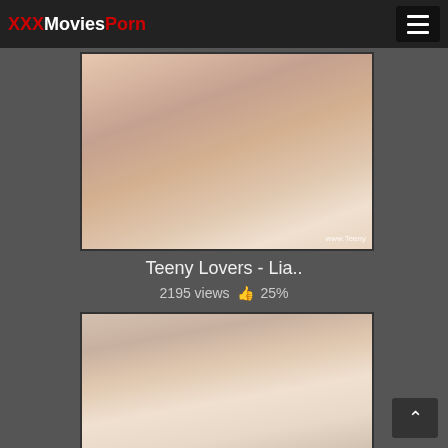XXXMoviesPorn
[Figure (photo): Thumbnail image for Teeny Lovers video with watermark www.Teeny]
Teeny Lovers - Lia..
2195 views 👍 25%
[Figure (photo): Thumbnail image for a second adult video]